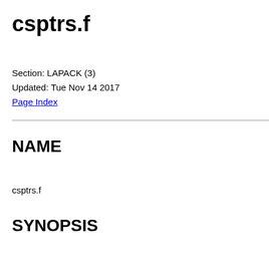csptrs.f
Section: LAPACK (3)
Updated: Tue Nov 14 2017
Page Index
NAME
csptrs.f
SYNOPSIS